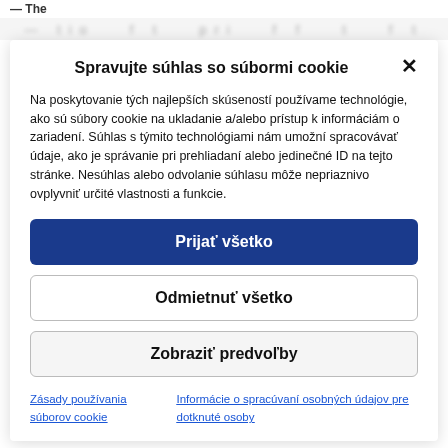— The
— tio... f t... f f... t...
Spravujte súhlas so súbormi cookie
Na poskytovanie tých najlepších skúseností používame technológie, ako sú súbory cookie na ukladanie a/alebo prístup k informáciám o zariadení. Súhlas s týmito technológiami nám umožní spracovávať údaje, ako je správanie pri prehliadaní alebo jedinečné ID na tejto stránke. Nesúhlas alebo odvolanie súhlasu môže nepriaznivo ovplyvniť určité vlastnosti a funkcie.
Prijať všetko
Odmietnuť všetko
Zobraziť predvoľby
Zásady používania súborov cookie
Informácie o spracúvaní osobných údajov pre dotknuté osoby